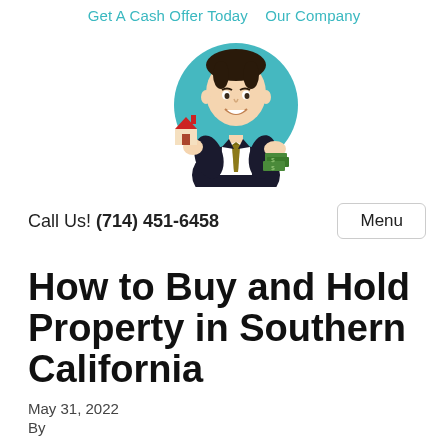Get A Cash Offer Today   Our Company
[Figure (illustration): Cartoon mascot logo of a man in a dark suit holding a small house model in one hand and cash in the other, inside a teal/blue circle.]
Call Us! (714) 451-6458
Menu
How to Buy and Hold Property in Southern California
May 31, 2022
By